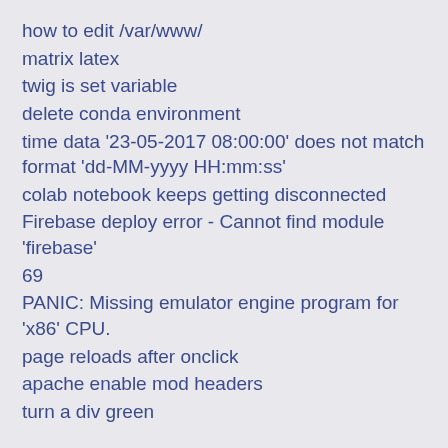how to edit /var/www/
matrix latex
twig is set variable
delete conda environment
time data '23-05-2017 08:00:00' does not match format 'dd-MM-yyyy HH:mm:ss'
colab notebook keeps getting disconnected
Firebase deploy error - Cannot find module 'firebase'
69
PANIC: Missing emulator engine program for 'x86' CPU.
page reloads after onclick
apache enable mod headers
turn a div green